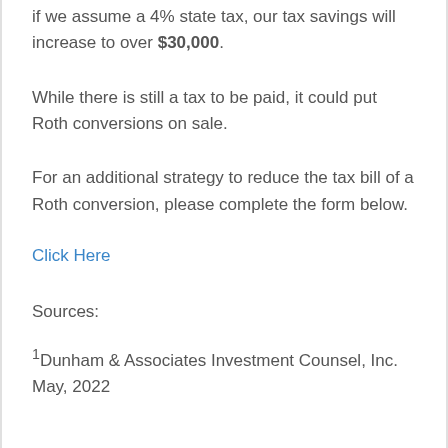if we assume a 4% state tax, our tax savings will increase to over $30,000.
While there is still a tax to be paid, it could put Roth conversions on sale.
For an additional strategy to reduce the tax bill of a Roth conversion, please complete the form below.
Click Here
Sources:
1Dunham & Associates Investment Counsel, Inc. May, 2022